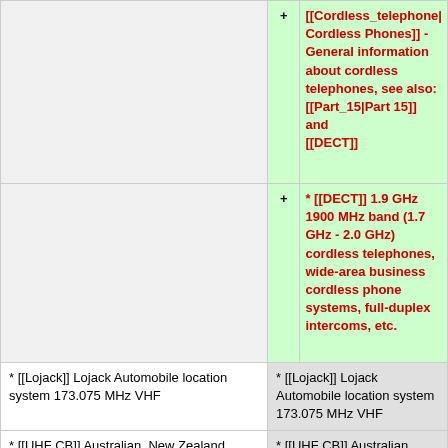| (left gray) | + | [[Cordless_telephone|Cordless Phones]] - General information about cordless telephones, see also: [[Part_15|Part 15]] and [[DECT]] |
| (left gray) | + | * [[DECT]] 1.9 GHz 1900 MHz band (1.7 GHz - 2.0 GHz) cordless telephones, wide-area business cordless phone systems, full-duplex intercoms, etc. |
| * [[Lojack]] Lojack Automobile location system 173.075 MHz VHF | * [[Lojack]] Lojack Automobile location system 173.075 MHz VHF |
| * [[UHF CB]] Australian, New Zealand, Malaysian equivalent of FRS/GMRS, originally... | * [[UHF CB]] Australian, New Zealand, Malaysian equivalent of FRS/GMRS, originally... |